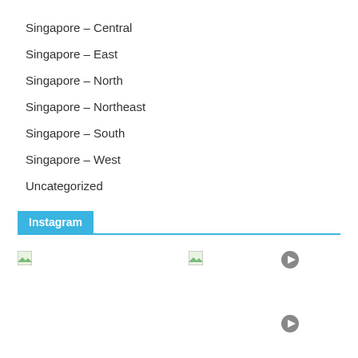Singapore – Central
Singapore – East
Singapore – North
Singapore – Northeast
Singapore – South
Singapore – West
Uncategorized
Instagram
[Figure (photo): Instagram image thumbnails with broken image icons and video play buttons]